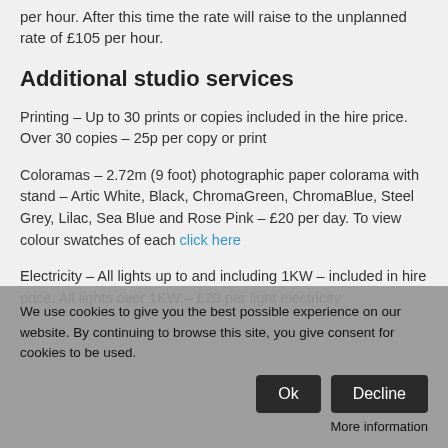per hour. After this time the rate will raise to the unplanned rate of £105 per hour.
Additional studio services
Printing – Up to 30 prints or copies included in the hire price. Over 30 copies – 25p per copy or print
Coloramas – 2.72m (9 foot) photographic paper colorama with stand – Artic White, Black, ChromaGreen, ChromaBlue, Steel Grey, Lilac, Sea Blue and Rose Pink – £20 per day. To view colour swatches of each click here
Electricity – All lights up to and including 1KW – included in hire price. All lights over 1KW – £20 per light electricity
We use cookies to give you the best possible experience on our website. By continuing to browse this site, you give consent for cookies to be used.
Ok
Decline
More information